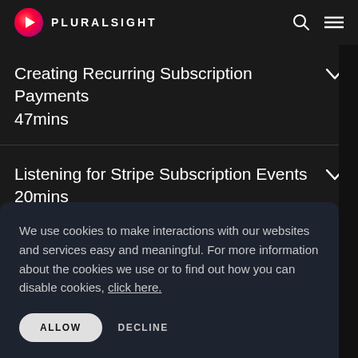PLURALSIGHT
Creating Recurring Subscription Payments
47mins
Listening for Stripe Subscription Events
20mins
We use cookies to make interactions with our websites and services easy and meaningful. For more information about the cookies we use or to find out how you can disable cookies, click here.
ALLOW   DECLINE